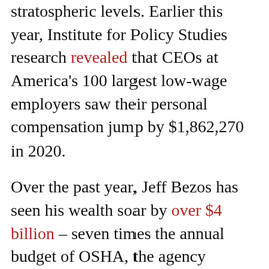stratospheric levels. Earlier this year, Institute for Policy Studies research revealed that CEOs at America's 100 largest low-wage employers saw their personal compensation jump by $1,862,270 in 2020.
Over the past year, Jeff Bezos has seen his wealth soar by over $4 billion – seven times the annual budget of OSHA, the agency investigating the disaster at his Edwardsville warehouse. So here's an idea for lawmakers in Washington: A 5 percent annual federal wealth tax on those Bezos billions could quadruple the annual OSHA budget — and then quadruple it again.
Amazon's relentless quest to sell goods fast and cheap has rewarded Bezos tremendously,